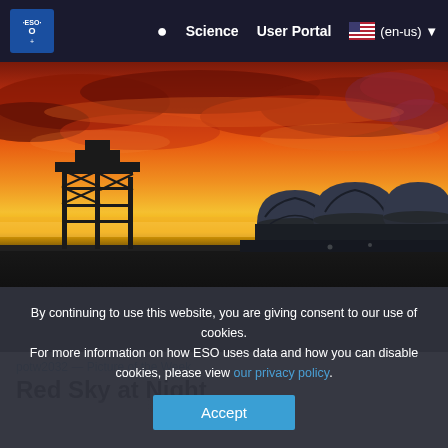ESO — Science   User Portal   (en-us)
[Figure (photo): Dramatic red and orange sunset sky over an observatory site, showing telescope dome structures silhouetted against vivid crimson clouds, with a metal tower structure on the left.]
potw2032 — Picture of the Week
Red Sky at Night
By continuing to use this website, you are giving consent to our use of cookies.
For more information on how ESO uses data and how you can disable cookies, please view our privacy policy.
Accept